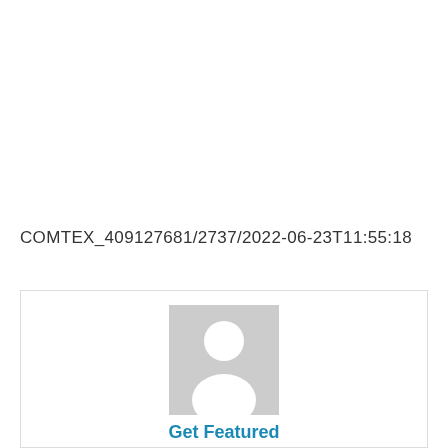COMTEX_409127681/2737/2022-06-23T11:55:18
[Figure (illustration): Placeholder avatar image showing a generic person silhouette in gray]
Get Featured